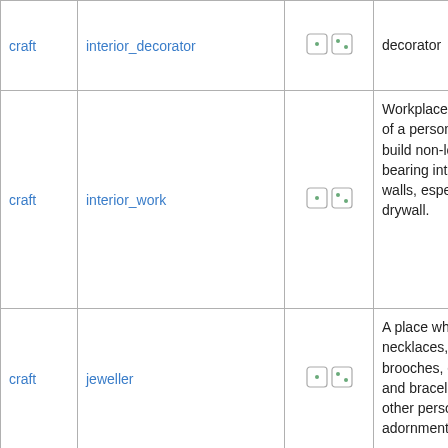| type | name | icons | description |
| --- | --- | --- | --- |
| craft | interior_decorator | [icons] | decorator |
| craft | interior_work | [icons] | Workplace or office of a person who build non-load-bearing interior walls, especially drywall. |
| craft | jeweller | [icons] | A place where necklaces, rings, brooches, earrings and bracelets and other personal adornments are |